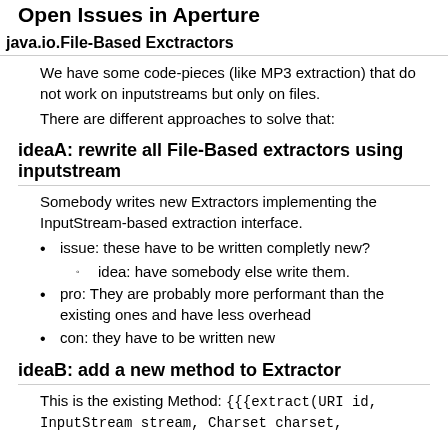Open Issues in Aperture
java.io.File-Based Exctractors
We have some code-pieces (like MP3 extraction) that do not work on inputstreams but only on files.
There are different approaches to solve that:
ideaA: rewrite all File-Based extractors using inputstream
Somebody writes new Extractors implementing the InputStream-based extraction interface.
issue: these have to be written completly new?
idea: have somebody else write them.
pro: They are probably more performant than the existing ones and have less overhead
con: they have to be written new
ideaB: add a new method to Extractor
This is the existing Method: {{{extract(URI id, InputStream stream, Charset charset,

            String mimeType, RDFContainer result)}}}
We could add a new one to the Interface Extractor: {{{extract(URI id, File file, Charset charset,

            String mimeType, RDFContainer result)}}}